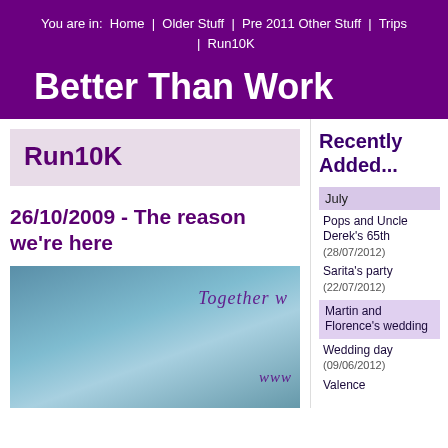You are in: Home | Older Stuff | Pre 2011 Other Stuff | Trips | Run10K
Better Than Work
Run10K
26/10/2009 - The reason we're here
[Figure (photo): Photo of a light blue t-shirt with text 'Together w...' and 'www...' visible]
Recently Added...
July
Pops and Uncle Derek's 65th (28/07/2012)
Sarita's party (22/07/2012)
Martin and Florence's wedding
Wedding day (09/06/2012)
Valence